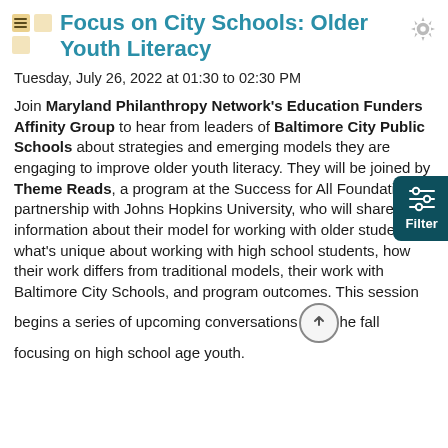Focus on City Schools: Older Youth Literacy
Tuesday, July 26, 2022 at 01:30 to 02:30 PM
Join Maryland Philanthropy Network's Education Funders Affinity Group to hear from leaders of Baltimore City Public Schools about strategies and emerging models they are engaging to improve older youth literacy. They will be joined by Theme Reads, a program at the Success for All Foundation in partnership with Johns Hopkins University, who will share information about their model for working with older students, what's unique about working with high school students, how their work differs from traditional models, their work with Baltimore City Schools, and program outcomes. This session begins a series of upcoming conversations in the fall focusing on high school age youth.